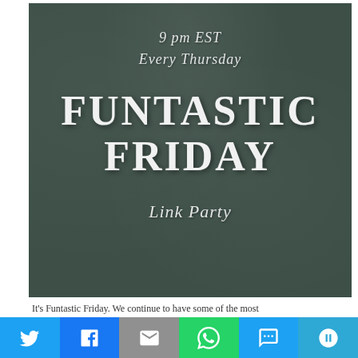[Figure (illustration): Chalkboard-style image with text: '9 pm EST / Every Thursday' in italic script at top, 'FUNTASTIC FRIDAY' in large bold chalk lettering in center, and 'Link Party' in italic script below, all white text on dark green-gray chalkboard background]
It's Funtastic Friday. We continue to have some of the most
[Figure (infographic): Social sharing button bar with six buttons: Twitter (blue bird icon), Facebook (blue F icon), Email (gray envelope icon), WhatsApp (green phone icon), SMS (blue message bubble icon), More (teal circular arrows icon)]